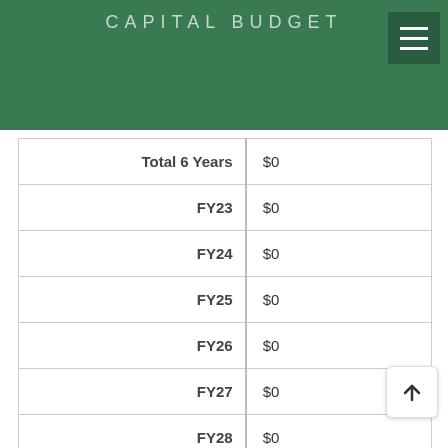CAPITAL BUDGET
| Label | Value |
| --- | --- |
| Total 6 Years | $0 |
| FY23 | $0 |
| FY24 | $0 |
| FY25 | $0 |
| FY26 | $0 |
| FY27 | $0 |
| FY28 | $0 |
| Beyond 6 Years | $0 |
| Funding Source | State Aid |